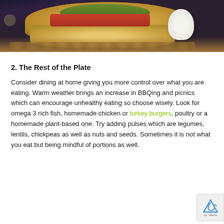[Figure (photo): Close-up photo of a burger on a wooden board with a white dipping sauce cup, sesame seed bun with lettuce and tomato visible, dark background]
2. The Rest of the Plate
Consider dining at home giving you more control over what you are eating. Warm weather brings an increase in BBQing and picnics which can encourage unhealthy eating so choose wisely. Look for omega 3 rich fish, homemade chicken or turkey burgers, poultry or a homemade plant-based one. Try adding pulses which are legumes, lentils, chickpeas as well as nuts and seeds. Sometimes it is not what you eat but being mindful of portions as well.